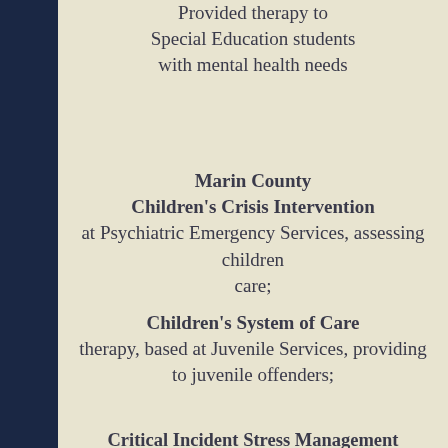Provided therapy to Special Education students with mental health needs
Marin County Children's Crisis Intervention at Psychiatric Emergency Services, assessing children care;
Children's System of Care therapy, based at Juvenile Services, providing to juvenile offenders;
Critical Incident Stress Management On-Call Therapy, conducting group debriefing and defusing events in the community, in schools, in agencies, in
School-Based Counseling in South American, South African, and U.S. schools,